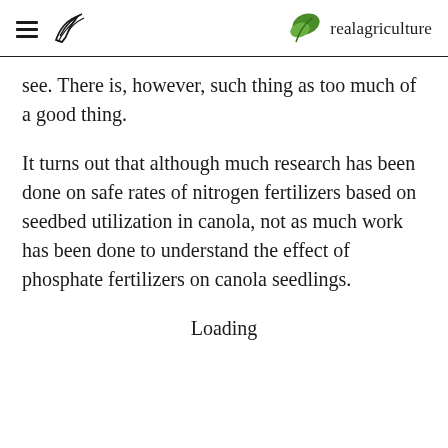realagriculture
see. There is, however, such thing as too much of a good thing.
It turns out that although much research has been done on safe rates of nitrogen fertilizers based on seedbed utilization in canola, not as much work has been done to understand the effect of phosphate fertilizers on canola seedlings.
Loading